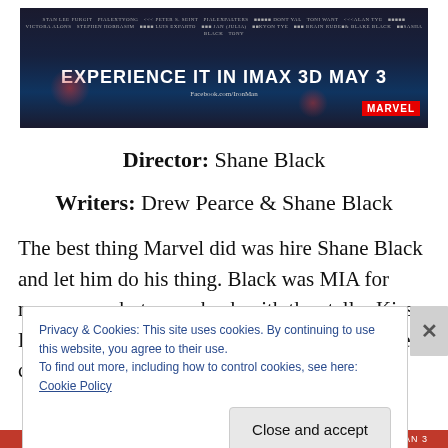[Figure (photo): Iron Man 3 movie banner — dark background with film credits and text 'EXPERIENCE IT IN IMAX 3D MAY 3', Facebook URL, and Marvel logo]
Director: Shane Black
Writers: Drew Pearce & Shane Black
The best thing Marvel did was hire Shane Black and let him do his thing.  Black was MIA for many years but came back with the stellar Kiss Kiss Bang Bang a few years back and it seemed clear that him and Downey were a
Privacy & Cookies: This site uses cookies. By continuing to use this website, you agree to their use.
To find out more, including how to control cookies, see here: Cookie Policy
Close and accept